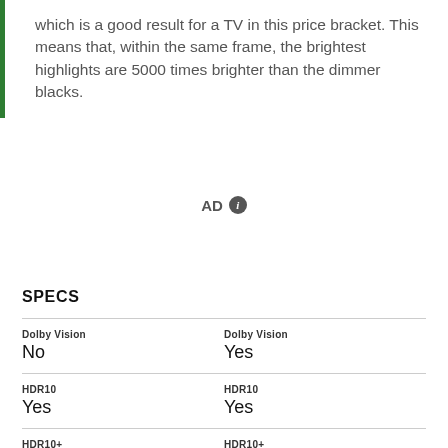which is a good result for a TV in this price bracket. This means that, within the same frame, the brightest highlights are 5000 times brighter than the dimmer blacks.
AD ℹ
SPECS
|  |  |
| --- | --- |
| Dolby Vision | Dolby Vision |
| No | Yes |
| HDR10 | HDR10 |
| Yes | Yes |
| HDR10+ | HDR10+ |
| No | No |